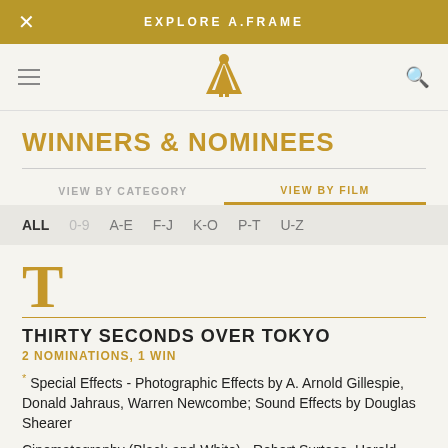EXPLORE A.FRAME
[Figure (logo): Academy Awards Oscar statuette gold logo mark]
WINNERS & NOMINEES
VIEW BY CATEGORY | VIEW BY FILM
ALL  0-9  A-E  F-J  K-O  P-T  U-Z
T
THIRTY SECONDS OVER TOKYO
2 NOMINATIONS, 1 WIN
* Special Effects - Photographic Effects by A. Arnold Gillespie, Donald Jahraus, Warren Newcombe; Sound Effects by Douglas Shearer
Cinematography (Black-and-White) - Robert Surtees, Harold